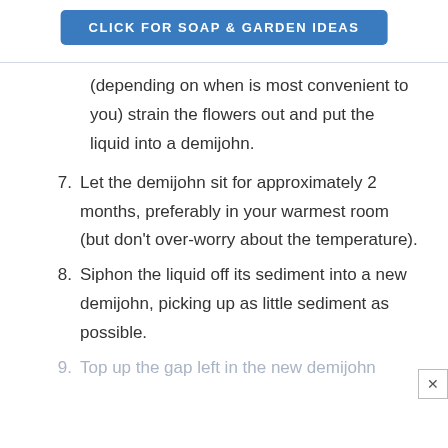[Figure (other): Blue rounded rectangle button with text 'CLICK FOR SOAP & GARDEN IDEAS']
(depending on when is most convenient to you) strain the flowers out and put the liquid into a demijohn.
7. Let the demijohn sit for approximately 2 months, preferably in your warmest room (but don't over-worry about the temperature).
8. Siphon the liquid off its sediment into a new demijohn, picking up as little sediment as possible.
9. Top up the gap left in the new demijohn